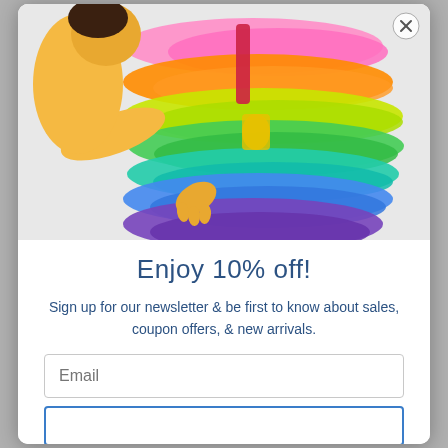[Figure (photo): Overhead view of a child in a yellow top reaching over a spread of colorful rainbow silk scarves laid flat on a light surface. Colors from top to bottom: pink, orange, yellow-green, green, teal, blue, purple.]
Enjoy 10% off!
Sign up for our newsletter & be first to know about sales, coupon offers, & new arrivals.